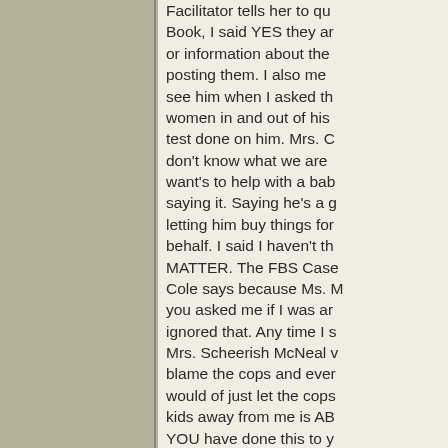Facilitator tells her to qu... Book, I said YES they ar... or information about the... posting them. I also mem... see him when I asked th... women in and out of his... test done on him. Mrs. C... don't know what we are... want's to help with a bab... saying it. Saying he's a g... letting him buy things for... behalf. I said I haven't th... MATTER. The FBS Case... Cole says because Ms. ... you asked me if I was ar... ignored that. Any time I s... Mrs. Scheerish McNeal ... blame the cops and ever... would of just let the cops... kids away from me is AB... YOU have done this to y... day, they were all coming... Mrs. Charlotte Burrell, sh... about SUPPORT, it was...